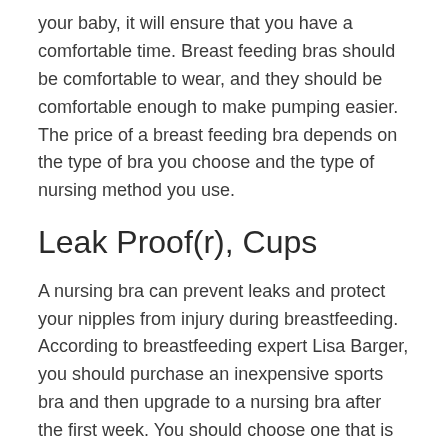your baby, it will ensure that you have a comfortable time. Breast feeding bras should be comfortable to wear, and they should be comfortable enough to make pumping easier. The price of a breast feeding bra depends on the type of bra you choose and the type of nursing method you use.
Leak Proof(r), Cups
A nursing bra can prevent leaks and protect your nipples from injury during breastfeeding. According to breastfeeding expert Lisa Barger, you should purchase an inexpensive sports bra and then upgrade to a nursing bra after the first week. You should choose one that is easy to pull down. Experts recommend similar products. They come with a nursing “bralet”, and a nursing